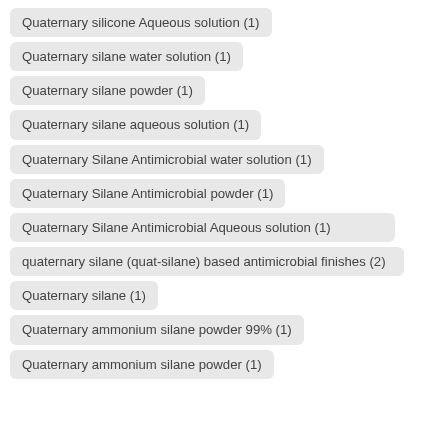Quaternary silicone Aqueous solution (1)
Quaternary silane water solution (1)
Quaternary silane powder (1)
Quaternary silane aqueous solution (1)
Quaternary Silane Antimicrobial water solution (1)
Quaternary Silane Antimicrobial powder (1)
Quaternary Silane Antimicrobial Aqueous solution (1)
quaternary silane (quat-silane) based antimicrobial finishes (2)
Quaternary silane (1)
Quaternary ammonium silane powder 99% (1)
Quaternary ammonium silane powder (1)